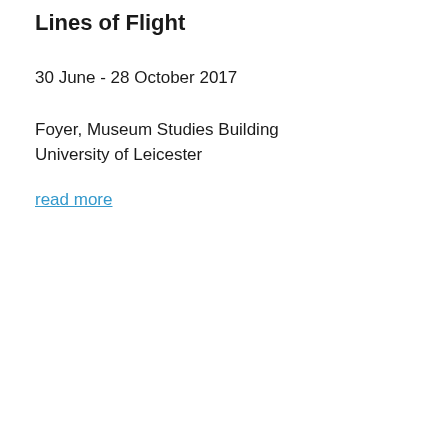Lines of Flight
30 June - 28 October 2017
Foyer, Museum Studies Building
University of Leicester
read more